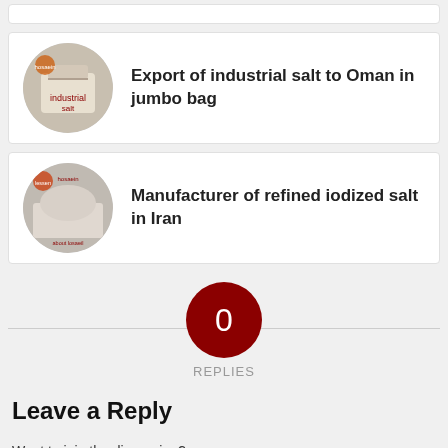[Figure (other): Partial card with circular thumbnail at top of page (cropped)]
Export of industrial salt to Oman in jumbo bag
Manufacturer of refined iodized salt in Iran
0 REPLIES
Leave a Reply
Want to join the discussion?
Feel free to contribute!